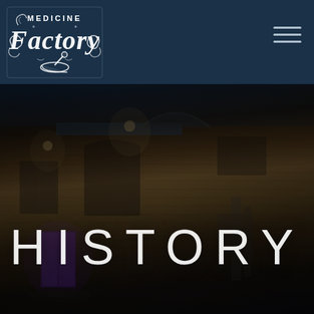Medicine Factory - Navigation Header
[Figure (logo): Medicine Factory logo: ornate white script text reading 'MEDICINE Factory' with decorative swirls and a mortar and pestle icon, on dark navy background]
[Figure (photo): Night-time exterior photograph of a historic brick building with purple glowing doors, overhead lights illuminating the facade, and industrial equipment visible on the right side]
HISTORY